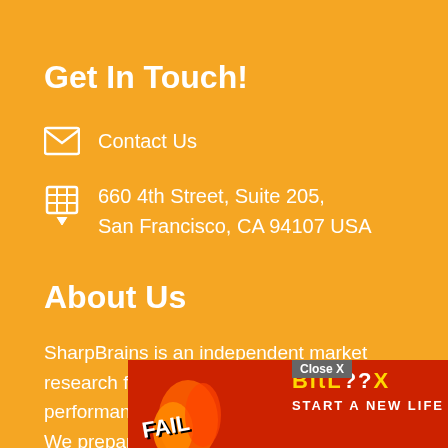Get In Touch!
Contact Us
660 4th Street, Suite 205, San Francisco, CA 94107 USA
About Us
SharpBrains is an independent market research firm tracking health and performance applications of brain science. We prepare general and tailored market reports, publish consumer guides, and pr...